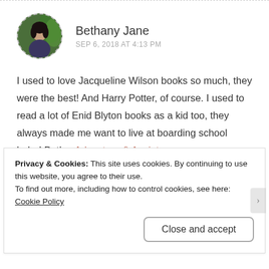Bethany Jane
SEP 6, 2018 AT 4:13 PM
I used to love Jacqueline Wilson books so much, they were the best! And Harry Potter, of course. I used to read a lot of Enid Blyton books as a kid too, they always made me want to live at boarding school haha! Beth x Adventure & Anxiety
Like
Privacy & Cookies: This site uses cookies. By continuing to use this website, you agree to their use.
To find out more, including how to control cookies, see here: Cookie Policy
Close and accept